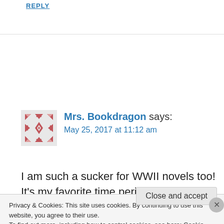REPLY
Mrs. Bookdragon says:
May 25, 2017 at 11:12 am
I am such a sucker for WWII novels too! It’s my favorite time period. Great idea for a blog post! Happy blogging
Privacy & Cookies: This site uses cookies. By continuing to use this website, you agree to their use.
To find out more, including how to control cookies, see here: Cookie Policy
Close and accept